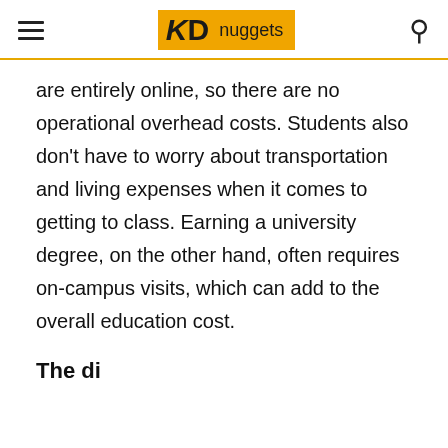KD nuggets
are entirely online, so there are no operational overhead costs. Students also don't have to worry about transportation and living expenses when it comes to getting to class. Earning a university degree, on the other hand, often requires on-campus visits, which can add to the overall education cost.
The di...